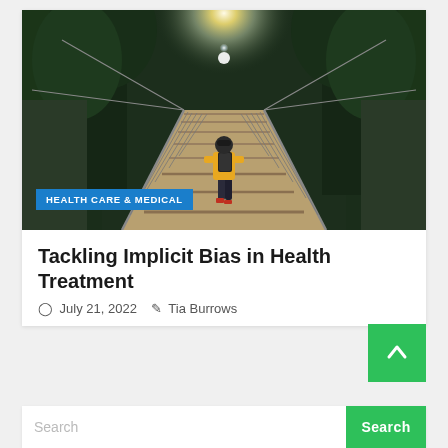[Figure (photo): Person in yellow jacket walking across a suspension bridge surrounded by forest trees with sunlight in the background]
HEALTH CARE & MEDICAL
Tackling Implicit Bias in Health Treatment
July 21, 2022   Tia Burrows